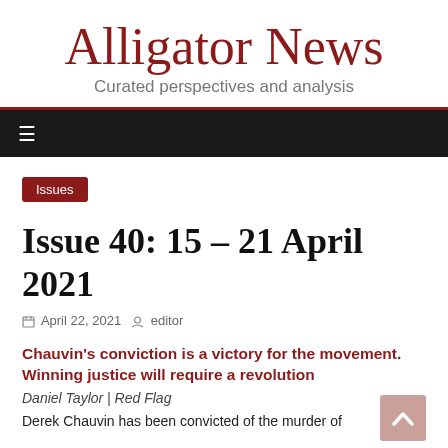Alligator News
Curated perspectives and analysis
Issues
Issue 40: 15 – 21 April 2021
April 22, 2021   editor
Chauvin's conviction is a victory for the movement. Winning justice will require a revolution
Daniel Taylor | Red Flag
Derek Chauvin has been convicted of the murder of